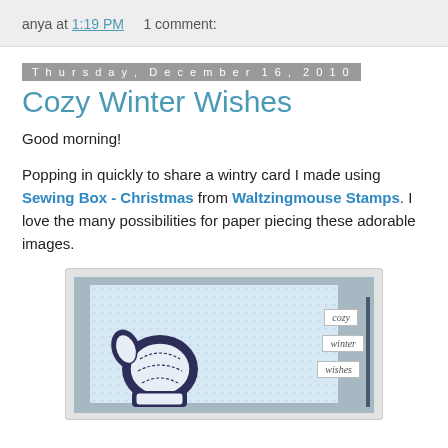anya at 1:19 PM    1 comment:
Thursday, December 16, 2010
Cozy Winter Wishes
Good morning!
Popping in quickly to share a wintry card I made using Sewing Box - Christmas from Waltzingmouse Stamps. I love the many possibilities for paper piecing these adorable images.
[Figure (photo): A handmade winter card featuring a navy blue mitten stamp with white stitching detail on a light blue dotted background, with stamped text labels reading 'cozy', 'winter', and 'wishes']